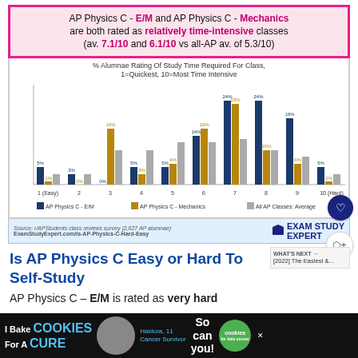AP Physics C - E/M and AP Physics C - Mechanics are both rated as relatively time-intensive classes (av. 7.1/10 and 6.1/10 vs all-AP av. of 5.3/10)
[Figure (grouped-bar-chart): % Alumnae Rating Of Study Time Required For Class, 1=Quickest, 10=Most Time Intensive]
Source: r/APStudents class reviews survey (2,627 AP alumnae) ExamStudyExpert.com/Is-AP-Physics-C-Hard-Easy
Is AP Physics C Easy or Hard To Self-Study
AP Physics C – E/M is rated as very hard